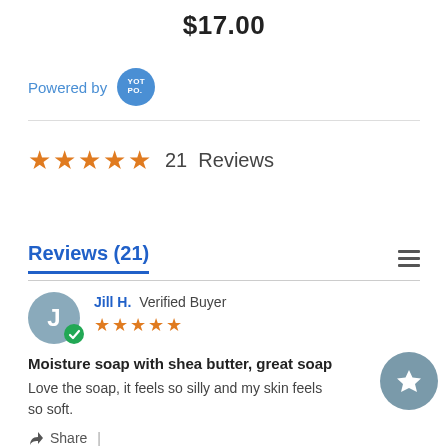$17.00
Powered by YOTPO.
★★★★★  21 Reviews
Reviews (21)
Jill H.  Verified Buyer
★★★★★
Moisture soap with shea butter, great soap
Love the soap, it feels so silly and my skin feels so soft.
Share |